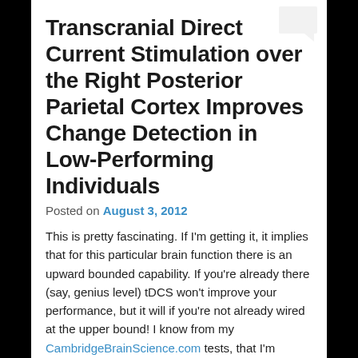[Figure (illustration): Light gray speech bubble / comment icon in upper right corner]
Transcranial Direct Current Stimulation over the Right Posterior Parietal Cortex Improves Change Detection in Low-Performing Individuals
Posted on August 3, 2012
This is pretty fascinating. If I'm getting it, it implies that for this particular brain function there is an upward bounded capability. If you're already there (say, genius level) tDCS won't improve your performance, but it will if you're not already wired at the upper bound! I know from my CambridgeBrainScience.com tests, that I'm especially weak in the VSTM (visual short-term memory) area. [Unfortunately there's a paywall around this and most other journal paper.] Paper originates from the Institute of Cognitive Neuroscience at the National Central University,